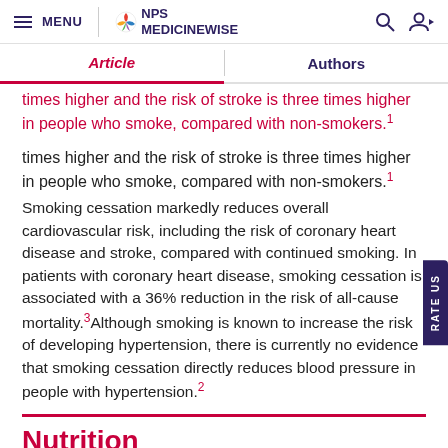MENU | NPS MEDICINEWISE
Article | Authors
times higher and the risk of stroke is three times higher in people who smoke, compared with non-smokers.[1]
Smoking cessation markedly reduces overall cardiovascular risk, including the risk of coronary heart disease and stroke, compared with continued smoking. In patients with coronary heart disease, smoking cessation is associated with a 36% reduction in the risk of all-cause mortality.[3] Although smoking is known to increase the risk of developing hypertension, there is currently no evidence that smoking cessation directly reduces blood pressure in people with hypertension.[2]
Nutrition